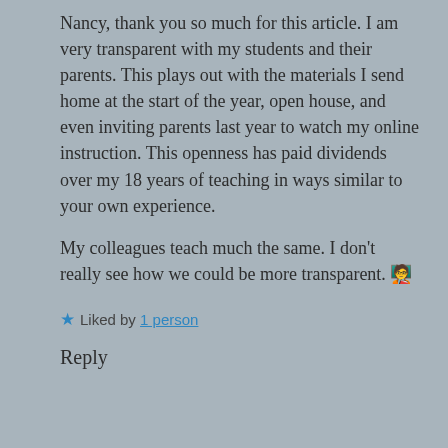Nancy, thank you so much for this article. I am very transparent with my students and their parents. This plays out with the materials I send home at the start of the year, open house, and even inviting parents last year to watch my online instruction. This openness has paid dividends over my 18 years of teaching in ways similar to your own experience.
My colleagues teach much the same. I don't really see how we could be more transparent. 🧑‍🏫
★ Liked by 1 person
Reply